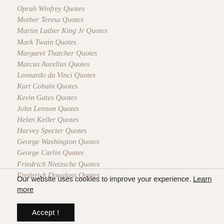Oprah Winfrey Quotes
Mother Teresa Quotes
Martin Luther King Jr Quotes
Mark Twain Quotes
Margaret Thatcher Quotes
Marcus Aurelius Quotes
Leonardo da Vinci Quotes
Kurt Cobain Quotes
Kevin Gates Quotes
John Lennon Quotes
Helen Keller Quotes
Harvey Specter Quotes
George Washington Quotes
George Carlin Quotes
Friedrich Nietzsche Quotes
Frederick Douglass Quotes
Our website uses cookies to improve your experience. Learn more
Accept !